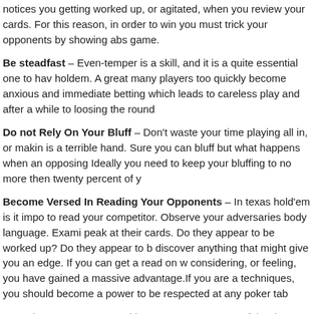notices you getting worked up, or agitated, when you review your cards. For this reason, in order to win you must trick your opponents by showing absolute calm game.
Be steadfast – Even-temper is a skill, and it is a quite essential one to have in holdem. A great many players too quickly become anxious and immediately increase betting which leads to careless play and after a while to loosing the round.
Do not Rely On Your Bluff – Don't waste your time playing all in, or making a bet if is a terrible hand. Sure you can bluff but what happens when an opposing player calls? Ideally you need to keep your bluffing to no more then twenty percent of your play.
Become Versed In Reading Your Opponents – In texas hold'em is it important to read your competitor. Observe your adversaries body language. Examine how they peak at their cards. Do they appear to be worked up? Do they appear to be bluffing? discover anything that might give you an edge. If you can get a read on what they are considering, or feeling, you have gained a massive advantage.If you are applying all these techniques, you should become a power to be respected at any poker table.
Previous Entry: Texas Hold'em Strategy – Successful Poker Ideas
Next Entry: Win at Hold'em: Tips on Rising to be the Best
Posted in   Holdem
You can follow any responses to this entry through the   RSS 2.0 Feed . You can   leave a response, or trackback from your own site.